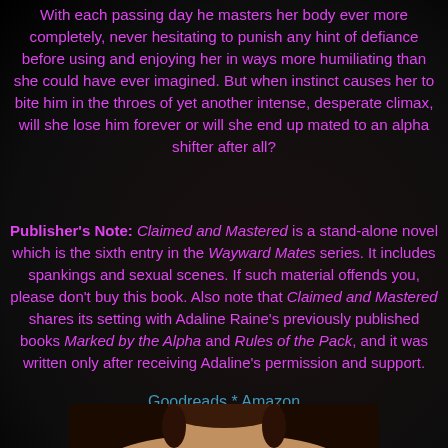With each passing day he masters her body ever more completely, never hesitating to punish any hint of defiance before using and enjoying her in ways more humiliating than she could have ever imagined. But when instinct causes her to bite him in the throes of yet another intense, desperate climax, will she lose him forever or will she end up mated to an alpha shifter after all?
Publisher's Note: Claimed and Mastered is a stand-alone novel which is the sixth entry in the Wayward Mates series. It includes spankings and sexual scenes. If such material offends you, please don't buy this book. Also note that Claimed and Mastered shares its setting with Adaline Raine's previously published books Marked by the Alpha and Rules of the Pack, and it was written only after receiving Adaline's permission and support.
Goodreads * Amazon
[Figure (photo): Partial photo of a person visible at the bottom of the page]